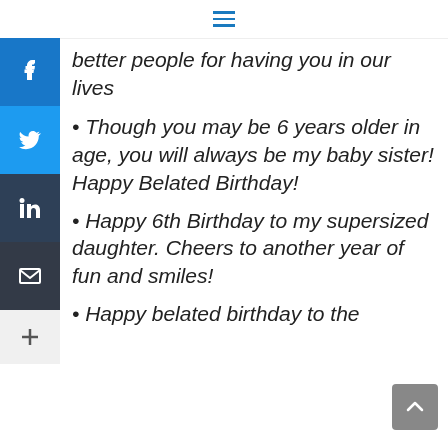≡
better people for having you in our lives
• Though you may be 6 years older in age, you will always be my baby sister! Happy Belated Birthday!
• Happy 6th Birthday to my supersized daughter. Cheers to another year of fun and smiles!
• Happy belated birthday to the